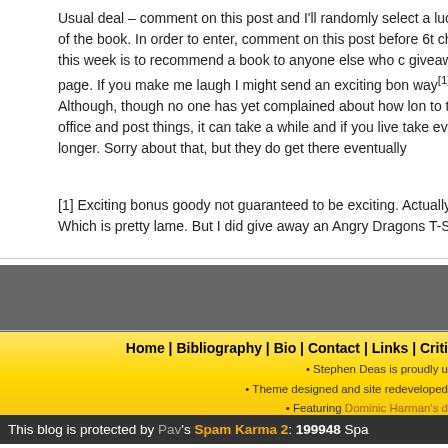Usual deal – comment on this post and I'll randomly select a lucky copy of the book. In order to enter, comment on this post before 6t challenge this week is to recommend a book to anyone else who c giveaway page. If you make me laugh I might send an exciting bon way[1]. Although, though no one has yet complained about how lon to the post office and post things, it can take a while and if you live take even longer. Sorry about that, but they do get there eventually
[1] Exciting bonus goody not guaranteed to be exciting. Actually it's Which is pretty lame. But I did give away an Angry Dragons T-Shirt
Home | Bibliography | Bio | Contact | Links | Criti
• Stephen Deas is proudly u • Theme designed and site redeveloped • Featuring Dominic Harman's d
This blog is protected by Pav 's Spam Karma 2: 199948 Spa